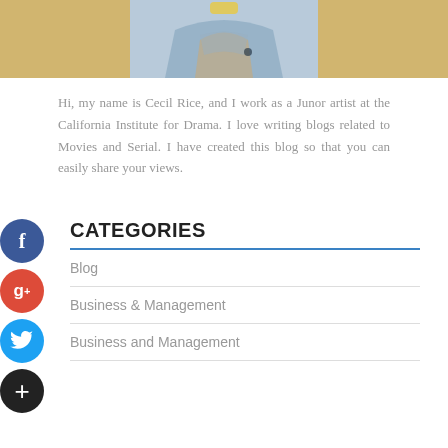[Figure (photo): Cropped photo of a person wearing a denim jacket, shown from shoulders up, partially visible at top of page]
Hi, my name is Cecil Rice, and I work as a Junor artist at the California Institute for Drama. I love writing blogs related to Movies and Serial. I have created this blog so that you can easily share your views.
CATEGORIES
Blog
Business & Management
Business and Management